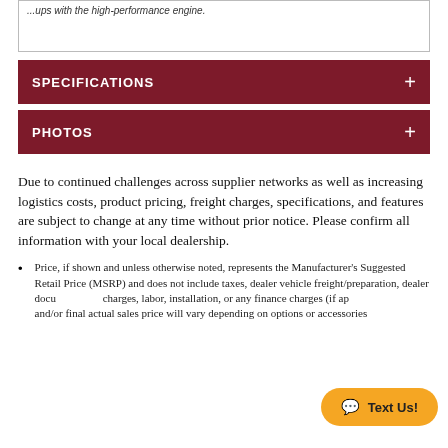...ups with the high-performance engine.
SPECIFICATIONS
PHOTOS
Due to continued challenges across supplier networks as well as increasing logistics costs, product pricing, freight charges, specifications, and features are subject to change at any time without prior notice. Please confirm all information with your local dealership.
Price, if shown and unless otherwise noted, represents the Manufacturer's Suggested Retail Price (MSRP) and does not include taxes, dealer vehicle freight/preparation, dealer documentation charges, labor, installation, or any finance charges (if applicable). MSRP and/or final actual sales price will vary depending on options or accessories selected.